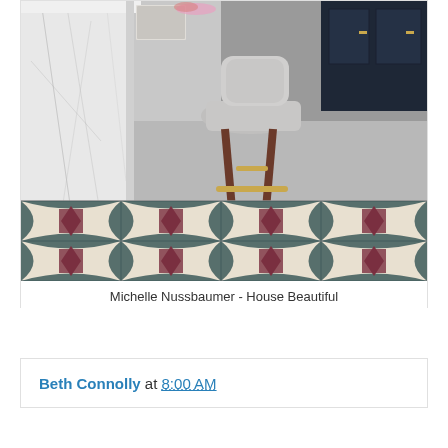[Figure (photo): Interior room photo showing a marble kitchen island on the left, a gray velvet barstool with gold/wood legs, and a decorative patterned tile floor with black, dark red/maroon, and cream geometric circle and diamond motifs. Dark cabinetry visible in top right background.]
Michelle Nussbaumer - House Beautiful
Beth Connolly at 8:00 AM